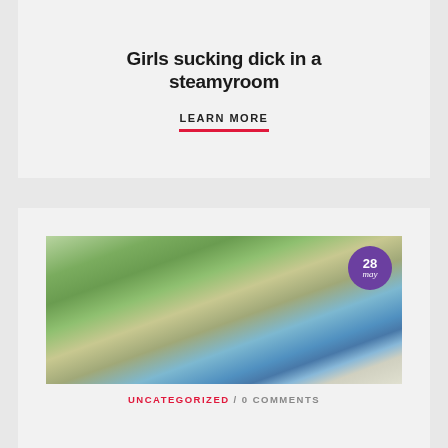Girls sucking dick in a steamyroom
LEARN MORE
[Figure (photo): Outdoor pool party scene with multiple people, date badge showing 28 may]
UNCATEGORIZED / 0 COMMENTS